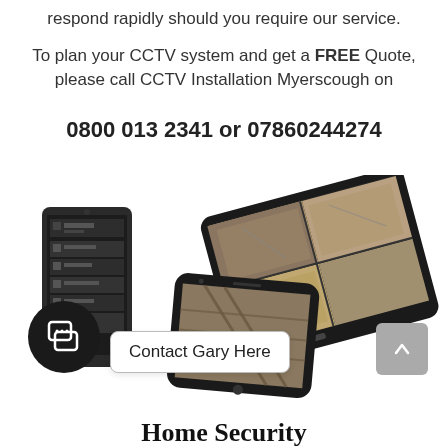respond rapidly should you require our service.
To plan your CCTV system and get a FREE Quote, please call CCTV Installation Myerscough on

0800 013 2341 or 07860244274
[Figure (photo): Image of a smartphone, tablet, and mobile phone displaying CCTV camera feeds, with a chat button overlay labeled 'Contact Gary Here' and a scroll-to-top button.]
Home Security